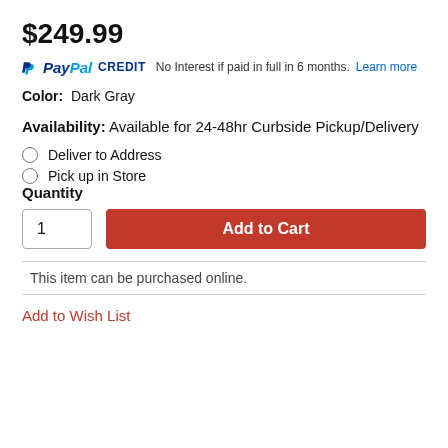$249.99
PayPal CREDIT  No Interest if paid in full in 6 months. Learn more
Color:  Dark Gray
Availability: Available for 24-48hr Curbside Pickup/Delivery
Deliver to Address
Pick up in Store
Quantity
1    Add to Cart
This item can be purchased online.
Add to Wish List